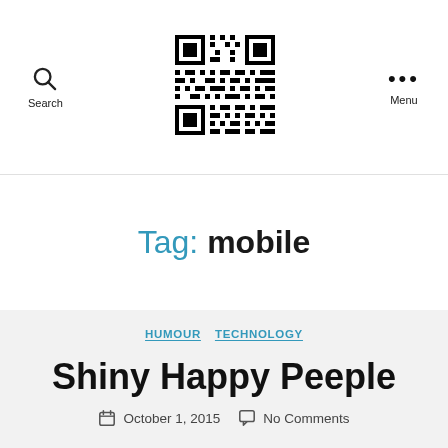Search | QR Code Logo | Menu
Tag: mobile
HUMOUR  TECHNOLOGY
Shiny Happy Peeple
October 1, 2015  No Comments